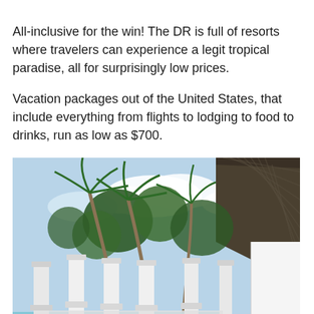All-inclusive for the win! The DR is full of resorts where travelers can experience a legit tropical paradise, all for surprisingly low prices.

Vacation packages out of the United States, that include everything from flights to lodging to food to drinks, run as low as $700.
[Figure (photo): Outdoor photo of a tropical resort showing white columns/pillars by a pool, palm trees bending in the wind against a partly cloudy sky, and a thatched-roof structure on the right side. A person wearing a hat is visible near the bottom.]